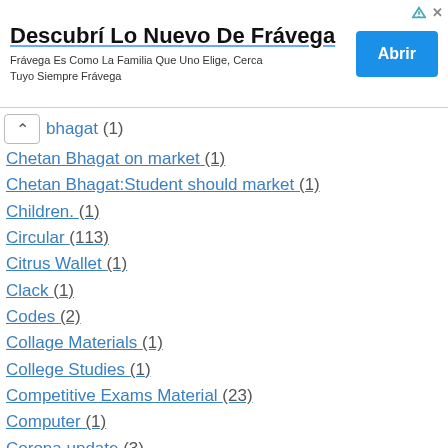[Figure (other): Advertisement banner for Frávega. Title: 'Descubrí Lo Nuevo De Frávega', subtitle: 'Frávega Es Como La Familia Que Uno Elige, Cerca Tuyo Siempre Frávega', with an 'Abrir' button.]
Bhagat (1)
Chetan Bhagat on market (1)
Chetan Bhagat:Student should market (1)
Children. (1)
Circular (113)
Citrus Wallet (1)
Clack (1)
Codes (2)
Collage Materials (1)
College Studies (1)
Competitive Exams Material (23)
Computer (1)
Corona update (3)
Coronavirus update (1)